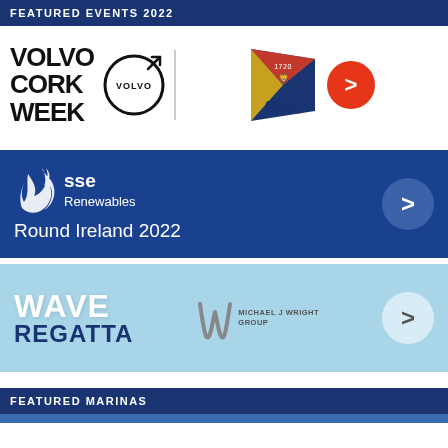FEATURED EVENTS 2022
[Figure (logo): Volvo Cork Week 2022 logo with Volvo circle logo, Royal Cork Yacht Club sailing emblem with '2022' text, and red circle arrow button]
[Figure (logo): SSE Renewables Round Ireland 2022 banner with SSE flame logo, text 'sse Renewables Round Ireland 2022' on dark blue background with arrow circle button]
[Figure (logo): Wave Regatta banner with 'WAVE REGATTA' text on light blue background, Michael J Wright Group logo, and white arrow circle button]
FEATURED MARINAS